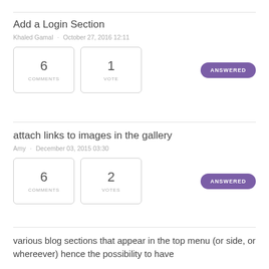Add a Login Section
Khaled Gamal · October 27, 2016 12:11
6 COMMENTS  1 VOTE  ANSWERED
attach links to images in the gallery
Amy · December 03, 2015 03:30
6 COMMENTS  2 VOTES  ANSWERED
various blog sections that appear in the top menu (or side, or whereever) hence the possibility to have